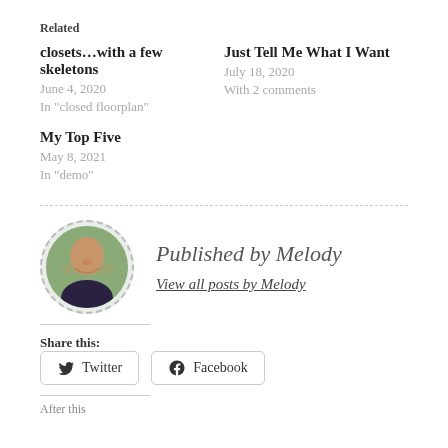Related
closets…with a few skeletons
June 4, 2020
In "closed floorplan"
Just Tell Me What I Want
July 18, 2020
With 2 comments
My Top Five
May 8, 2021
In "demo"
Published by Melody
View all posts by Melody
Share this:
Twitter  Facebook